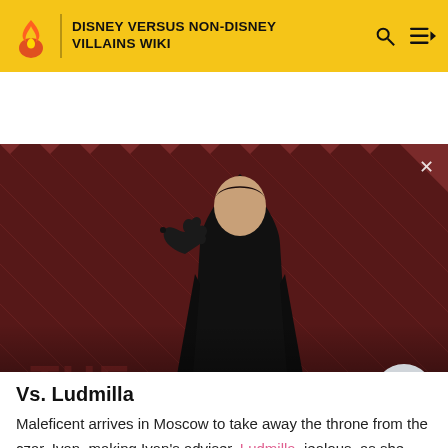DISNEY VERSUS NON-DISNEY VILLAINS WIKI
[Figure (screenshot): Video thumbnail showing a dark-clad figure with a raven on their shoulder against a red-and-black diagonal striped background. Overlay text reads: WATCH • 01:40. Title: The Sandman Will Keep You Awake - The Loop. A circular play button is visible on the right.]
Vs. Ludmilla
Maleficent arrives in Moscow to take away the throne from the czar, Ivan, making Ivan's adviser, Ludmilla, jealous, as she herself wants the throne. In an attempt to